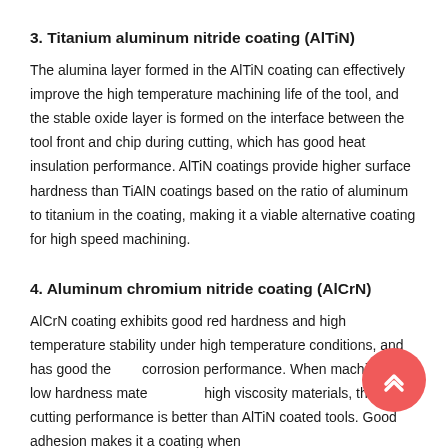3. Titanium aluminum nitride coating (AlTiN)
The alumina layer formed in the AlTiN coating can effectively improve the high temperature machining life of the tool, and the stable oxide layer is formed on the interface between the tool front and chip during cutting, which has good heat insulation performance. AlTiN coatings provide higher surface hardness than TiAlN coatings based on the ratio of aluminum to titanium in the coating, making it a viable alternative coating for high speed machining.
4. Aluminum chromium nitride coating (AlCrN)
AlCrN coating exhibits good red hardness and high temperature stability under high temperature conditions, and has good thermal corrosion performance. When machining low hardness materials and high viscosity materials, the cutting performance is better than AlTiN coated tools. Good adhesion makes it a coating when